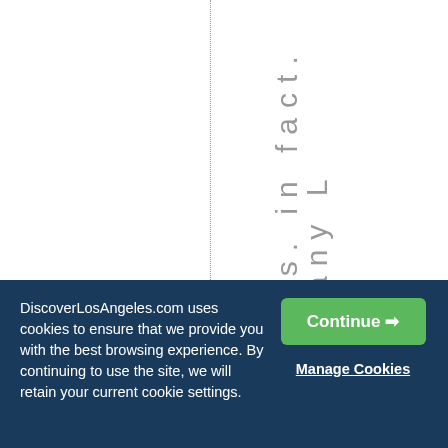[Figure (screenshot): White background area with a vertical dotted line dividing the page, and vertically oriented text reading 'ves. In fact. many L' in light gray on the right side.]
DiscoverLosAngeles.com uses cookies to ensure that we provide you with the best browsing experience. By continuing to use the site, we will retain your current cookie settings.
Continue →
Manage Cookies